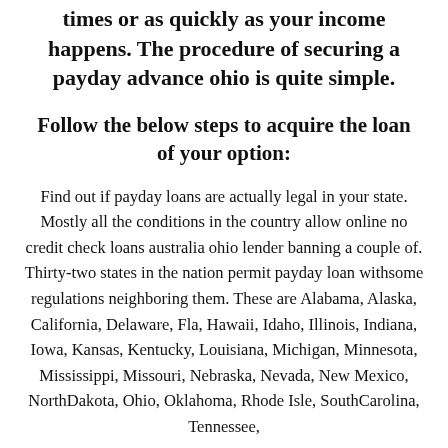times or as quickly as your income happens. The procedure of securing a payday advance ohio is quite simple.
Follow the below steps to acquire the loan of your option:
Find out if payday loans are actually legal in your state. Mostly all the conditions in the country allow online no credit check loans australia ohio lender banning a couple of. Thirty-two states in the nation permit payday loan withsome regulations neighboring them. These are Alabama, Alaska, California, Delaware, Fla, Hawaii, Idaho, Illinois, Indiana, Iowa, Kansas, Kentucky, Louisiana, Michigan, Minnesota, Mississippi, Missouri, Nebraska, Nevada, New Mexico, NorthDakota, Ohio, Oklahoma, Rhode Isle, SouthCarolina, Tennessee,